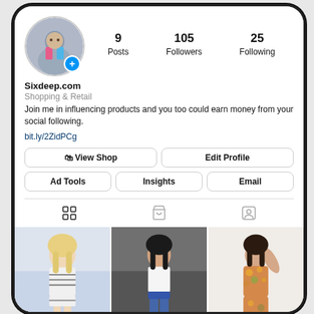[Figure (screenshot): Instagram profile page for Sixdeep.com showing profile photo, stats (9 Posts, 105 Followers, 25 Following), bio, action buttons (View Shop, Edit Profile, Ad Tools, Insights, Email), navigation tabs, and a 3-column photo grid of fashion posts.]